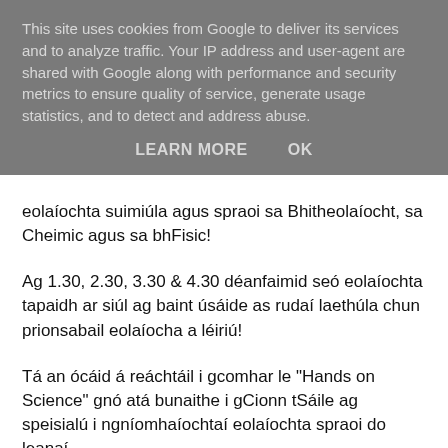This site uses cookies from Google to deliver its services and to analyze traffic. Your IP address and user-agent are shared with Google along with performance and security metrics to ensure quality of service, generate usage statistics, and to detect and address abuse.
LEARN MORE    OK
eolaíochta suimiúla agus spraoi sa Bhitheolaíocht, sa Cheimic agus sa bhFisic!
Ag 1.30, 2.30, 3.30 & 4.30 déanfaimid seó eolaíochta tapaidh ar siúl ag baint úsáide as rudaí laethúla chun prionsabail eolaíocha a léiriú!
Tá an ócáid á reáchtáil i gcomhar le "Hands on Science" gnó atá bunaithe i gCionn tSáile ag speisialú i ngníomhaíochtaí eolaíochta spraoi do leanaí.
Chun tuilleadh eolais a fháil faoi LSC agus ar an méid a dhéanaimid, den cuairt ar LSCconnect.com